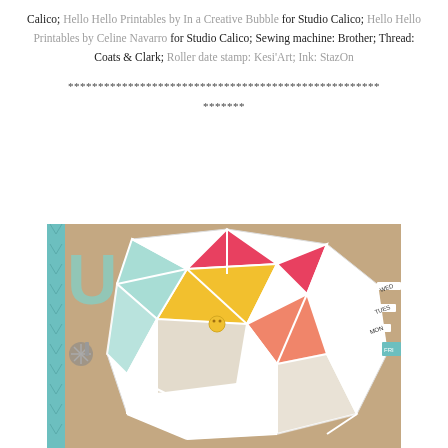Calico; Hello Hello Printables by In a Creative Bubble for Studio Calico; Hello Hello Printables by Celine Navarro for Studio Calico; Sewing machine: Brother; Thread: Coats & Clark; Roller date stamp: Kesi'Art; Ink: StazOn
****************************************************
*******
[Figure (photo): A close-up photograph of a geometric paper elephant craft/scrapbook layout on kraft paper background. The elephant is made of white geometric faceted shapes forming a low-poly style design. Inside the triangular sections are colorful papers including red, yellow, teal/mint, and striped patterns. There is a yellow button embellishment. On the left side there is a teal chevron-striped border and a gray snowflake embellishment with a clothespin. On the right side there are white strips labeled MON, TUES, WED. In the upper left area there are large mint/teal letters partially visible.]